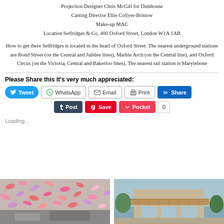Projection Designer Chris McGill for Dusthouse
Casting Director Ellie Collyer-Bristow
Make-up MAC
Location Selfridges & Co, 400 Oxford Street, London W1A 1AB
How to get there Selfridges is located in the heart of Oxford Street. The nearest underground stations are Bond Street (on the Central and Jubilee lines), Marble Arch (on the Central line), and Oxford Circus (on the Victoria, Central and Bakerloo lines). The nearest rail station is Marylebone
Please Share this it's very much appreciated:
[Figure (screenshot): Social share buttons: Tweet (blue), WhatsApp (outlined), Email (outlined), Print (outlined), LinkedIn Share (dark blue), Tumblr Post (dark navy), Pinterest Save (red), Pocket (red) with count 0]
Loading…
[Figure (photo): Left photo: building facade covered in colorful pattern of shoes/sneakers; Right photo: modern building with wooden canopy structure and trees]